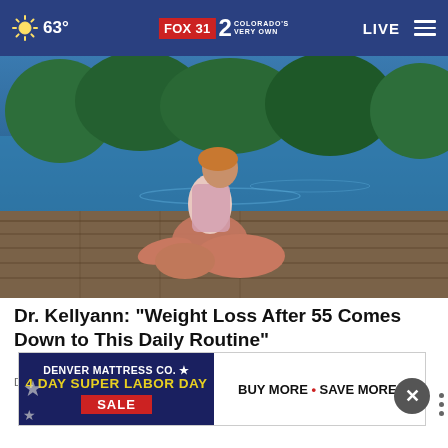63° FOX 31 2 COLORADO'S VERY OWN LIVE
[Figure (photo): Woman in pink tank top sitting cross-legged on a wooden dock by a blue lake with green trees in the background, photographed in bright sunlight]
Dr. Kellyann: "Weight Loss After 55 Comes Down to This Daily Routine"
Dr. Kellyann
[Figure (screenshot): Denver Mattress Co. advertisement: 4 Day Super Labor Day Sale - Buy More • Save More!]